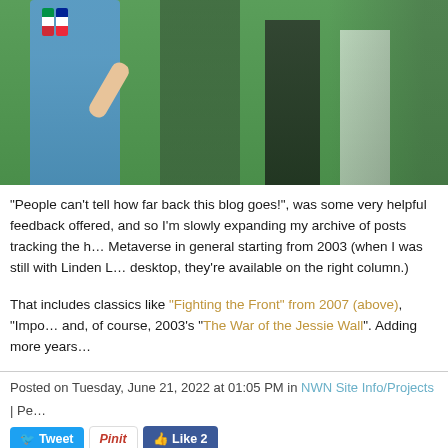[Figure (photo): Screenshot of a virtual world/metaverse scene showing avatars on a green field, one in blue outfit with flags, others in black and white, with crowd/banners in background]
"People can't tell how far back this blog goes!", was some very helpful feedback offered, and so I'm slowly expanding my archive of posts tracking the history of the Metaverse in general starting from 2003 (when I was still with Linden Lab). If you're on desktop, they're available on the right column.)
That includes classics like "Fighting the Front" from 2007 (above), "Impo... and, of course, 2003's "The War of the Jessie Wall". Adding more years...
Posted on Tuesday, June 21, 2022 at 01:05 PM in NWN Site Info/Projects | Pe...
[Figure (screenshot): Social media sharing buttons: Tweet, Pin it, Like 2]
MONDAY, JUNE 06, 2022
Watch: Seracast's Live Stream Look At New Items From...
[Figure (photo): Bottom of page showing start of another article image, dark background with circular avatar/logo]